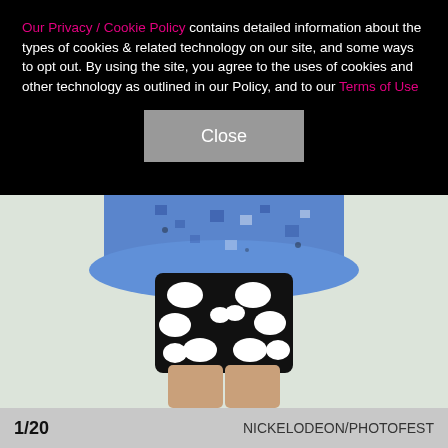Our Privacy / Cookie Policy contains detailed information about the types of cookies & related technology on our site, and some ways to opt out. By using the site, you agree to the uses of cookies and other technology as outlined in our Policy, and to our Terms of Use
[Figure (photo): Photo of a child from waist down wearing a blue patterned top and black-and-white polka dot leggings/shorts, standing against a light background.]
1/20   NICKELODEON/PHOTOFEST